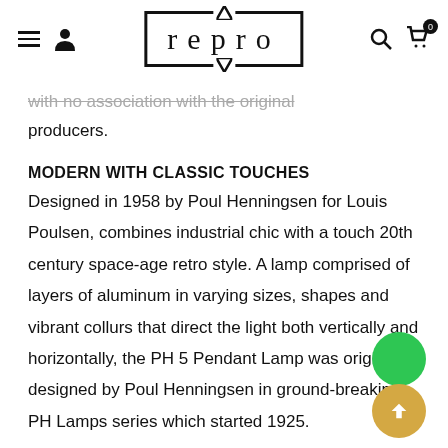repro
with no association with the original producers.
MODERN WITH CLASSIC TOUCHES
Designed in 1958 by Poul Henningsen for Louis Poulsen, combines industrial chic with a touch 20th century space-age retro style. A lamp comprised of layers of aluminum in varying sizes, shapes and vibrant collurs that direct the light both vertically and horizontally, the PH 5 Pendant Lamp was originally designed by Poul Henningsen in ground-breaking PH Lamps series which started 1925.